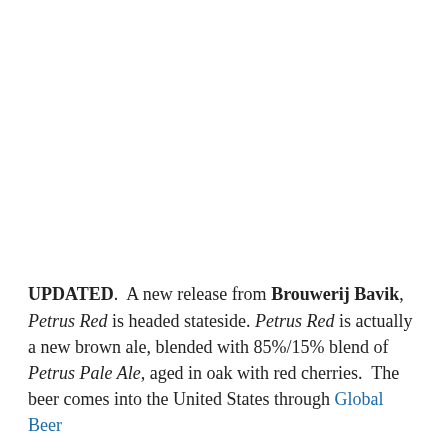UPDATED.  A new release from Brouwerij Bavik, Petrus Red is headed stateside. Petrus Red is actually a new brown ale, blended with 85%/15% blend of Petrus Pale Ale, aged in oak with red cherries.  The beer comes into the United States through Global Beer...